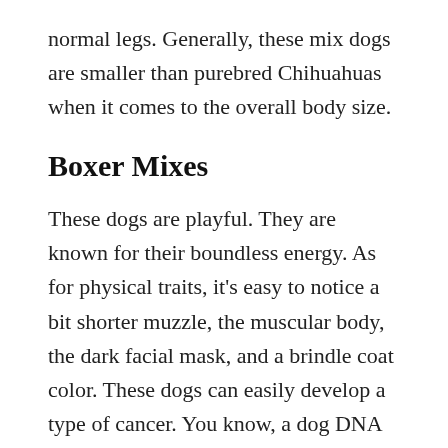normal legs. Generally, these mix dogs are smaller than purebred Chihuahuas when it comes to the overall body size.
Boxer Mixes
These dogs are playful. They are known for their boundless energy. As for physical traits, it's easy to notice a bit shorter muzzle, the muscular body, the dark facial mask, and a brindle coat color. These dogs can easily develop a type of cancer. You know, a dog DNA test can give pet owners important clues about their dog's behavior and health, but this is not all parts of the equation.